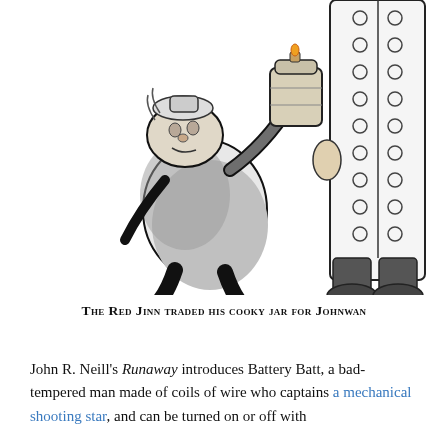[Figure (illustration): Black and white line drawing illustration showing a short stout figure (the Red Jinn) crouching and holding up a cookie jar, facing toward the right side where a tall figure in a long coat is visible from mid-torso down, showing boots at the bottom.]
The Red Jinn traded his cooky jar for Johnwan
John R. Neill's Runaway introduces Battery Batt, a bad-tempered man made of coils of wire who captains a mechanical shooting star, and can be turned on or off with